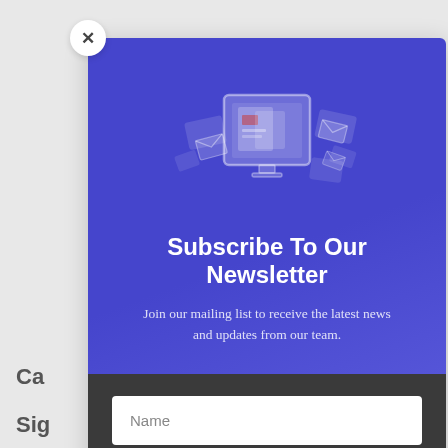[Figure (illustration): Newsletter subscription modal popup with close button (x), blue header area with newsletter icon (monitor with documents and envelopes), title, subtitle, and dark gray form area with Name and Email input fields]
Subscribe To Our Newsletter
Join our mailing list to receive the latest news and updates from our team.
Name
Email
Ca
Sig